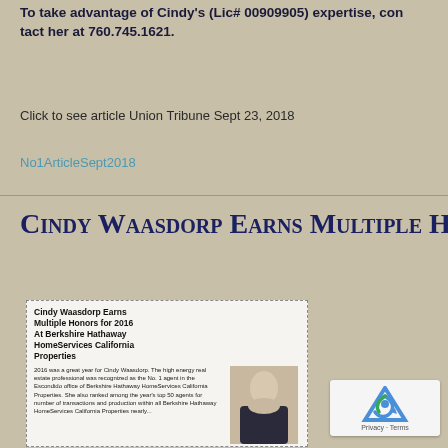To take advantage of Cindy's (Lic# 00909905) expertise, contact her at 760.745.1621.
Click to see article Union Tribune Sept 23, 2018
No1ArticleSept2018
Cindy Waasdorp Earns Multiple Ho...
[Figure (screenshot): Newspaper article clipping titled 'Cindy Waasdorp Earns Multiple Honors for 2016 At Berkshire Hathaway HomeServices California Properties' with a photo of Cindy Waasdorp and article body text describing her achievements as No. 1 agent in the Escondido office of Berkshire Hathaway HomeServices California Properties, ranked among year's top 50 agents.]
[Figure (logo): Google reCAPTCHA widget showing the reCAPTCHA logo with Privacy and Terms text]